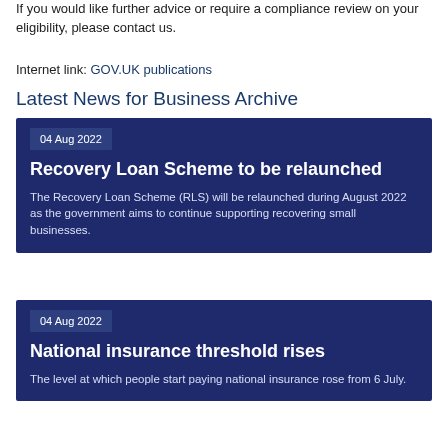If you would like further advice or require a compliance review on your eligibility, please contact us.
Internet link: GOV.UK publications
Latest News for Business Archive
04 Aug 2022
Recovery Loan Scheme to be relaunched
The Recovery Loan Scheme (RLS) will be relaunched during August 2022 as the government aims to continue supporting recovering small businesses.
04 Aug 2022
National insurance threshold rises
The level at which people start paying national insurance rose from 6 July.